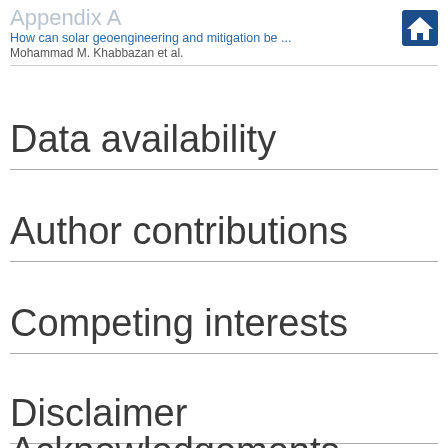Appendix A
How can solar geoengineering and mitigation be ...
Mohammad M. Khabbazan et al.
Data availability
Author contributions
Competing interests
Disclaimer
Acknowledgements